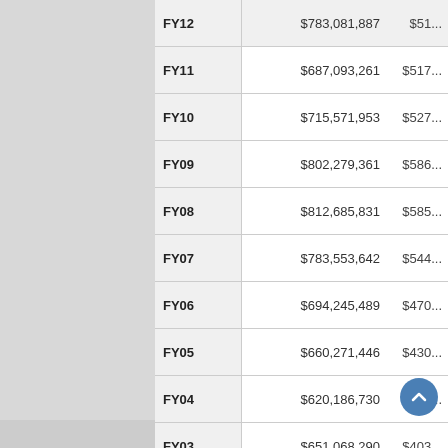| Year | Column2 | Column3 |
| --- | --- | --- |
| FY12 | $783,081,887 | $51... |
| FY11 | $687,093,261 | $517... |
| FY10 | $715,571,953 | $527... |
| FY09 | $802,279,361 | $586... |
| FY08 | $812,685,831 | $585... |
| FY07 | $783,553,642 | $544... |
| FY06 | $694,245,489 | $470... |
| FY05 | $660,271,446 | $430... |
| FY04 | $620,186,730 | $392... |
| FY03 | $651,068,290 | $403... |
| FY02 | $841,578,197 | $510... |
| FY01 | $914,055,767 | $544... |